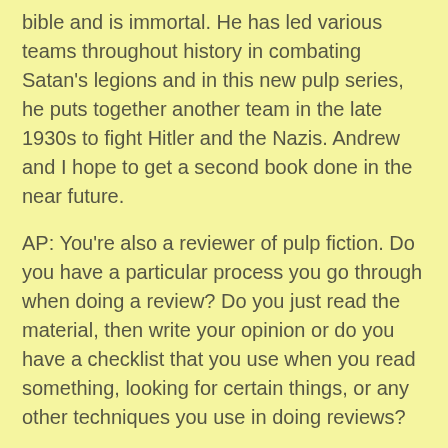bible and is immortal. He has led various teams throughout history in combating Satan's legions and in this new pulp series, he puts together another team in the late 1930s to fight Hitler and the Nazis. Andrew and I hope to get a second book done in the near future.
AP: You're also a reviewer of pulp fiction. Do you have a particular process you go through when doing a review? Do you just read the material, then write your opinion or do you have a checklist that you use when you read something, looking for certain things, or any other techniques you use in doing reviews?
RF: I have no set formula for writing my reviews. I merely read the book, allow my reactions to settle in and then write my honest thoughts about what I've read. Obviously for me to label anything pulp, be it a western, crime novel or sci-fi, it has to meet certain requirements ala fast pacing, exotic locales and heroic characters. If those are present, then I feel justified in reviewing the book as a pulp. Currently my Pulp